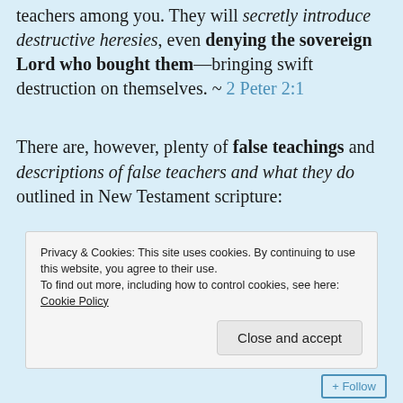teachers among you. They will secretly introduce destructive heresies, even denying the sovereign Lord who bought them—bringing swift destruction on themselves. ~ 2 Peter 2:1
There are, however, plenty of false teachings and descriptions of false teachers and what they do outlined in New Testament scripture:
Privacy & Cookies: This site uses cookies. By continuing to use this website, you agree to their use.
To find out more, including how to control cookies, see here: Cookie Policy
Close and accept